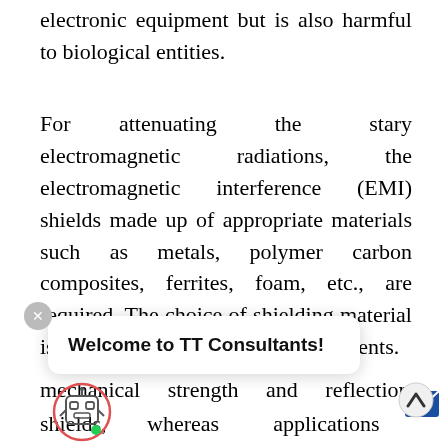electronic equipment but is also harmful to biological entities.
For attenuating the stary electromagnetic radiations, the electromagnetic interference (EMI) shields made up of appropriate materials such as metals, polymer carbon composites, ferrites, foam, etc., are required. The choice of shielding material is based on the application requirements.
...ns requiring high mechanical strength and reflection dominant shielding can employ metals as shields, whereas applications requiring
Welcome to TT Consultants!